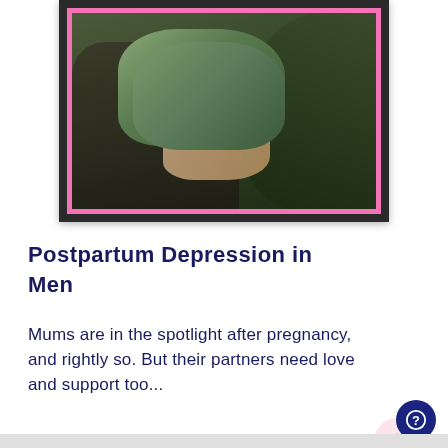[Figure (photo): A person in a dark jacket holding a baby wrapped in green clothing, surrounded by dark foliage. The image has a pink border frame.]
Postpartum Depression in Men
Mums are in the spotlight after pregnancy, and rightly so. But their partners need love and support too...